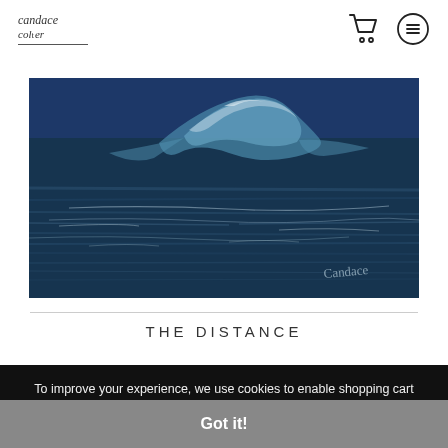candace colter — shopping cart icon — menu icon
[Figure (photo): Painting of ocean waves in deep navy and steel blue tones, with a curling wave crest in the center and artist signature in lower right. Horizontal panoramic format artwork on textured canvas.]
THE DISTANCE
To improve your experience, we use cookies to enable shopping cart functionality, provide a secure log-in and remember log-in details, collect statistics, optimize site functionality, and to deliver content tailored to your interests.
Got it!